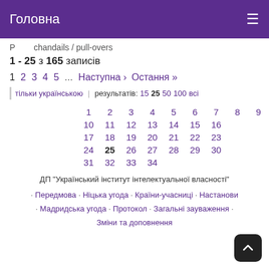Головна
P  chandails / pull-overs
1 - 25 з 165 записів
1  2  3  4  5  …  Наступна › Остання »
| тільки українською | результатів: 15 25 50 100 всі
| 1 | 2 | 3 | 4 | 5 | 6 | 7 | 8 | 9 |
| 10 | 11 | 12 | 13 | 14 | 15 | 16 |  |  |
| 17 | 18 | 19 | 20 | 21 | 22 | 23 |  |  |
| 24 | 25 | 26 | 27 | 28 | 29 | 30 |  |  |
| 31 | 32 | 33 | 34 |  |  |  |  |  |
ДП "Український інститут інтелектуальної власності"
· Передмова · Ніцька угода · Країни-учасниці · Настанови · Мадридська угода · Протокол · Загальні зауваження · Зміни та доповнення